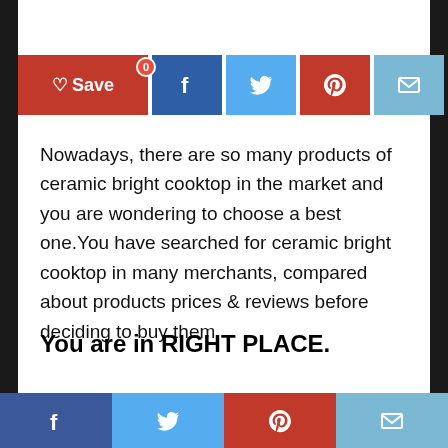[Figure (infographic): Social share bar with Save button (red), Facebook (dark blue), Twitter (light blue), Pinterest (red), Email (light blue) buttons. Badge showing 0 on Save button.]
Nowadays, there are so many products of ceramic bright cooktop in the market and you are wondering to choose a best one.You have searched for ceramic bright cooktop in many merchants, compared about products prices & reviews before deciding to buy them.
You are in RIGHT PLACE.
Here are some of best sellings ceramic bright cooktop which we would like to recommend
[Figure (infographic): Bottom social share bar with Facebook, Twitter, Pinterest, Email buttons.]